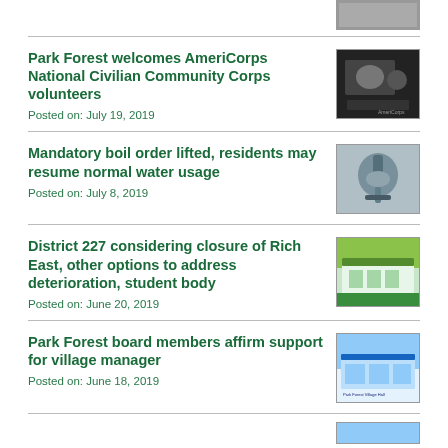[Figure (photo): Partial thumbnail photo visible at top of page]
Park Forest welcomes AmeriCorps National Civilian Community Corps volunteers
Posted on: July 19, 2019
[Figure (photo): Photo of a person at a podium with AmeriCorps logo]
Mandatory boil order lifted, residents may resume normal water usage
Posted on: July 8, 2019
[Figure (photo): Close-up photo of a faucet or water valve]
District 227 considering closure of Rich East, other options to address deterioration, student body
Posted on: June 20, 2019
[Figure (photo): Photo of a school building exterior]
Park Forest board members affirm support for village manager
Posted on: June 18, 2019
[Figure (photo): Photo of Park Forest Village Hall building]
[Figure (photo): Partial thumbnail photo visible at bottom of page]